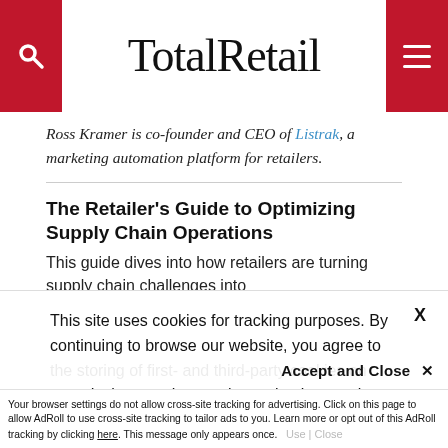TotalRetail
Ross Kramer is co-founder and CEO of Listrak, a marketing automation platform for retailers.
The Retailer's Guide to Optimizing Supply Chain Operations
This guide dives into how retailers are turning supply chain challenges into
This site uses cookies for tracking purposes. By continuing to browse our website, you agree to the storing of first- and third-party cookies on your device to enhance site navigation, analyze site usage, and assist in our marketing and
Accept and Close ✕
Your browser settings do not allow cross-site tracking for advertising. Click on this page to allow AdRoll to use cross-site tracking to tailor ads to you. Learn more or opt out of this AdRoll tracking by clicking here. This message only appears once.